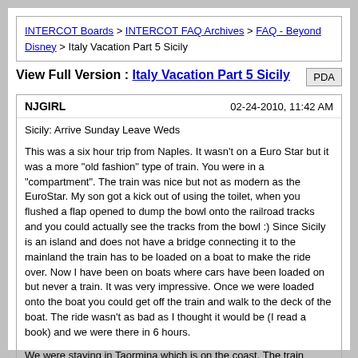INTERCOT Boards > INTERCOT FAQ Archives > FAQ - Beyond Disney > Italy Vacation Part 5 Sicily
View Full Version : Italy Vacation Part 5 Sicily
NJGIRL   02-24-2010, 11:42 AM
Sicily: Arrive Sunday Leave Weds

This was a six hour trip from Naples. It wasn't on a Euro Star but it was a more "old fashion" type of train. You were in a "compartment". The train was nice but not as modern as the EuroStar. My son got a kick out of using the toilet, when you flushed a flap opened to dump the bowl onto the railroad tracks and you could actually see the tracks from the bowl :) Since Sicily is an island and does not have a bridge connecting it to the mainland the train has to be loaded on a boat to make the ride over. Now I have been on boats where cars have been loaded on but never a train. It was very impressive. Once we were loaded onto the boat you could get off the train and walk to the deck of the boat. The ride wasn't as bad as I thought it would be (I read a book) and we were there in 6 hours.

We were staying in Taormina which is on the coast. The train station that we got off at was used to film the Godfather (part II I think), when the family goes back to Italy to visit with the kids. It was really cool looking , very decorative.

We stayed at the President Spledid (English Version) which was about $150 (USDollars) per night. This is during the off season, in fact if I remember correctly mid November they were closing for the season. This by far was the biggest room we had and it had a wonderful view. The hotel was high on a mountainside overlooking the coastline.

Breakfast here was included with the room just like all of our previous hotels. It was pretty much to same food. Rolls, lunch meat, sliced cheese, pastry, cereal